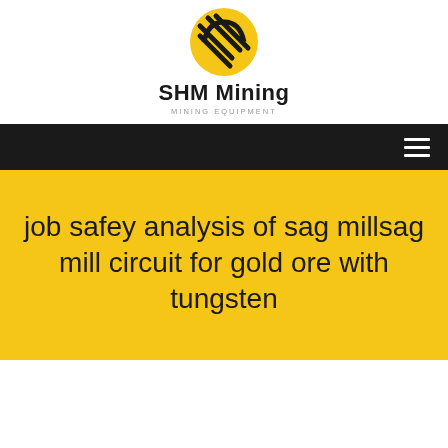[Figure (logo): SHM Mining logo — circular yellow badge with black diagonal hatching lines, company name 'SHM Mining' in bold and subtitle 'MINING EQUIPMENT' in small caps below]
SHM Mining
MINING EQUIPMENT
job safey analysis of sag millsag mill circuit for gold ore with tungsten